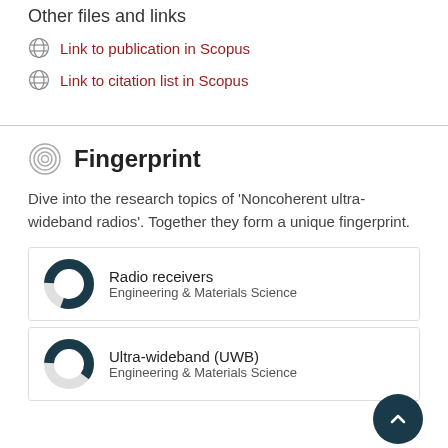Other files and links
Link to publication in Scopus
Link to citation list in Scopus
Fingerprint
Dive into the research topics of 'Noncoherent ultra-wideband radios'. Together they form a unique fingerprint.
Radio receivers
Engineering & Materials Science
Ultra-wideband (UWB)
Engineering & Materials Science